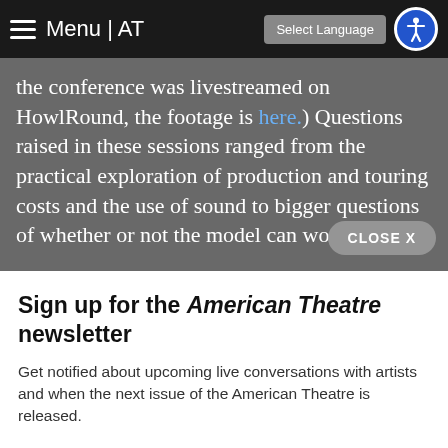Menu | AT  Select Language
the conference was livestreamed on HowlRound, the footage is here.) Questions raised in these sessions ranged from the practical exploration of production and touring costs and the use of sound to bigger questions of whether or not the model can wo...
Sign up for the American Theatre newsletter
Get notified about upcoming live conversations with artists and when the next issue of the American Theatre is released.
Sign up